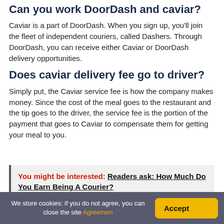Can you work DoorDash and caviar?
Caviar is a part of DoorDash. When you sign up, you'll join the fleet of independent couriers, called Dashers. Through DoorDash, you can receive either Caviar or DoorDash delivery opportunities.
Does caviar delivery fee go to driver?
Simply put, the Caviar service fee is how the company makes money. Since the cost of the meal goes to the restaurant and the tip goes to the driver, the service fee is the portion of the payment that goes to Caviar to compensate them for getting your meal to you.
You might be interested: Readers ask: How Much Do You Earn Being A Courier?
We store cookies: if you do not agree, you can close the site Agreemen